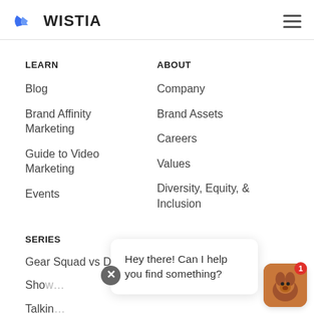[Figure (logo): Wistia logo with blue wing icon and bold WISTIA text]
LEARN
Blog
Brand Affinity Marketing
Guide to Video Marketing
Events
ABOUT
Company
Brand Assets
Careers
Values
Diversity, Equity, & Inclusion
SERIES
Gear Squad vs Dr. Boring
Sho…
Talkin…
A Better Workplace
Hey there! Can I help you find something?